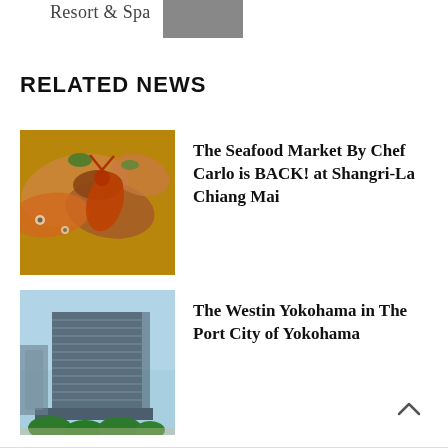Resort & Spa
RELATED NEWS
[Figure (photo): Seafood market photo showing fish and lobster]
The Seafood Market By Chef Carlo is BACK! at Shangri-La Chiang Mai
[Figure (photo): Exterior photo of The Westin Yokohama hotel building]
The Westin Yokohama in The Port City of Yokohama